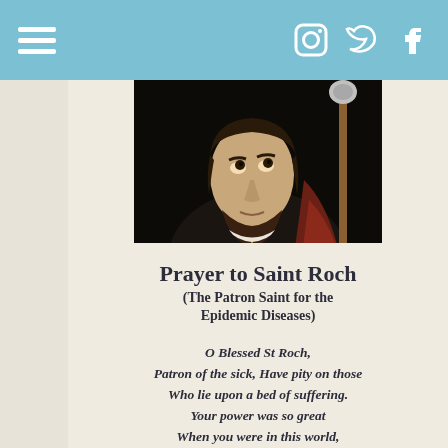Navigation menu | Social icons: Instagram, Twitter, Facebook
[Figure (photo): Classical oil painting of Saint Roch, a bearded man in dark clothing with a pilgrim's shell medallion, holding a staff, looking upward with a red cloth draped over his arm.]
Prayer to Saint Roch
(The Patron Saint for the Epidemic Diseases)
O Blessed St Roch,
Patron of the sick, Have pity on those
Who lie upon a bed of suffering.
Your power was so great
When you were in this world,